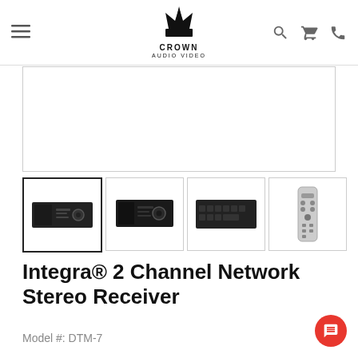Crown Audio Video — navigation header with hamburger menu, logo, search, cart, and phone icons
[Figure (photo): Main product image area (white/blank placeholder) showing the Integra 2 Channel Network Stereo Receiver]
[Figure (photo): Thumbnail 1: Front view of Integra DTM-7 stereo receiver (active/selected)]
[Figure (photo): Thumbnail 2: Angled front view of Integra DTM-7 stereo receiver]
[Figure (photo): Thumbnail 3: Rear panel view of Integra DTM-7 stereo receiver]
[Figure (photo): Thumbnail 4: Remote control for Integra DTM-7]
Integra® 2 Channel Network Stereo Receiver
Model #: DTM-7